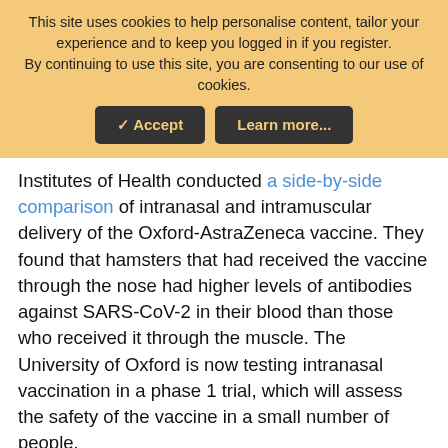This site uses cookies to help personalise content, tailor your experience and to keep you logged in if you register. By continuing to use this site, you are consenting to our use of cookies.
[Figure (other): Cookie consent banner with Accept and Learn more buttons on an orange/yellow background]
Institutes of Health conducted a side-by-side comparison of intranasal and intramuscular delivery of the Oxford-AstraZeneca vaccine. They found that hamsters that had received the vaccine through the nose had higher levels of antibodies against SARS-CoV-2 in their blood than those who received it through the muscle. The University of Oxford is now testing intranasal vaccination in a phase 1 trial, which will assess the safety of the vaccine in a small number of people.
Developing a nasal vaccine is tricky, however, because scientists know relatively little about the machinations of mucosal immunity. “While the human immune system is a black
Search for
1. WAYS TO IMPROVE GUT HEALTH
2. WAYS TO BOOST YOUR ENERGY
Ad | Business Focus